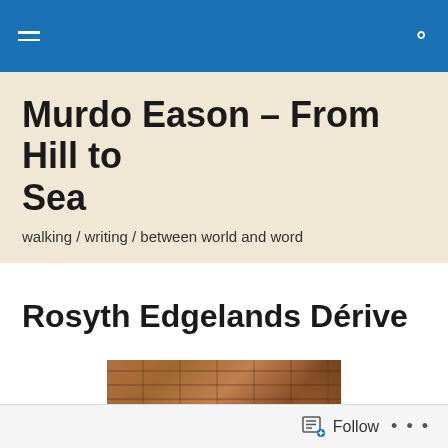Murdo Eason – From Hill to Sea
walking / writing / between world and word
Rosyth Edgelands Dérive
[Figure (photo): Close-up photograph of weathered red brick walls meeting at a corner, with mottled and aged brickwork in shades of brown, red, and grey.]
Follow